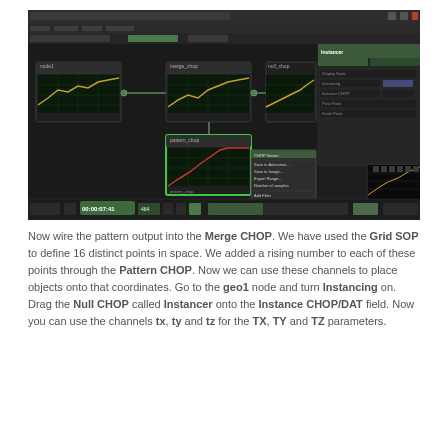[Figure (screenshot): Screenshot of TouchDesigner software showing CHOP network with multiple nodes connected, including waveform displays and a context menu visible over one node. Timeline controls visible at the bottom.]
Now wire the pattern output into the Merge CHOP. We have used the Grid SOP to define 16 distinct points in space. We added a rising number to each of these points through the Pattern CHOP. Now we can use these channels to place objects onto that coordinates. Go to the geo1 node and turn Instancing on. Drag the Null CHOP called Instancer onto the Instance CHOP/DAT field. Now you can use the channels tx, ty and tz for the TX, TY and TZ parameters.